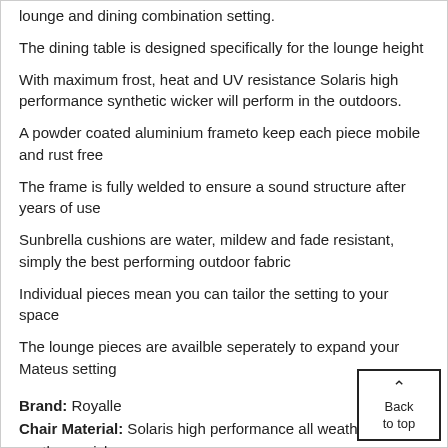lounge and dining combination setting.
The dining table is designed specifically for the lounge height
With maximum frost, heat and UV resistance Solaris high performance synthetic wicker will perform in the outdoors.
A powder coated aluminium frameto keep each piece mobile and rust free
The frame is fully welded to ensure a sound structure after years of use
Sunbrella cushions are water, mildew and fade resistant, simply the best performing outdoor fabric
Individual pieces mean you can tailor the setting to your space
The lounge pieces are availble seperately to expand your Mateus setting
Brand: Royalle
Chair Material: Solaris high performance all weather synthetic wicker